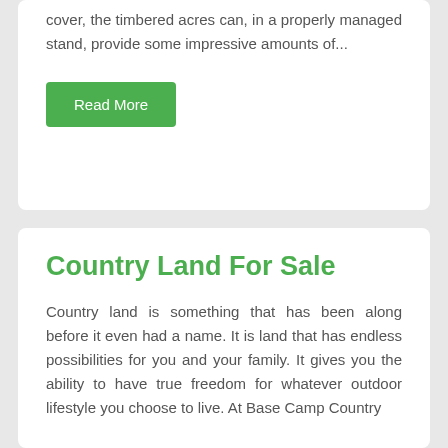cover, the timbered acres can, in a properly managed stand, provide some impressive amounts of...
Read More
Country Land For Sale
Country land is something that has been along before it even had a name. It is land that has endless possibilities for you and your family. It gives you the ability to have true freedom for whatever outdoor lifestyle you choose to live. At Base Camp Country